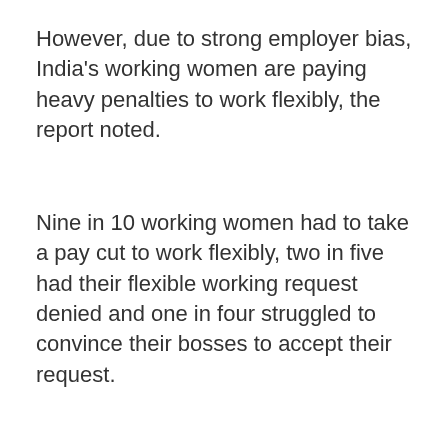However, due to strong employer bias, India's working women are paying heavy penalties to work flexibly, the report noted.
Nine in 10 working women had to take a pay cut to work flexibly, two in five had their flexible working request denied and one in four struggled to convince their bosses to accept their request.
ADVERTISEMENT